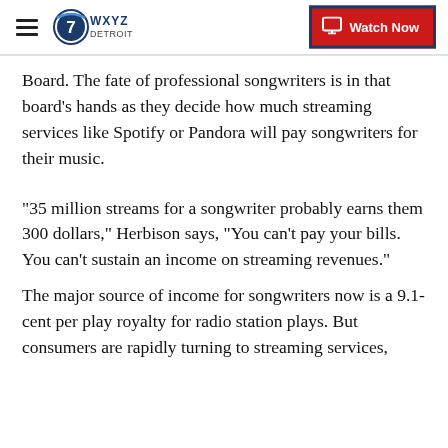WXYZ Detroit | Watch Now
Board. The fate of professional songwriters is in that board’s hands as they decide how much streaming services like Spotify or Pandora will pay songwriters for their music.
“35 million streams for a songwriter probably earns them 300 dollars,” Herbison says, “You can’t pay your bills. You can’t sustain an income on streaming revenues.”
The major source of income for songwriters now is a 9.1-cent per play royalty for radio station plays. But consumers are rapidly turning to streaming services,